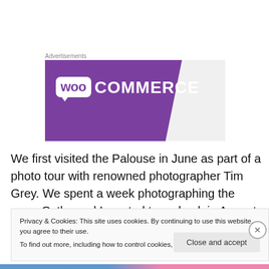Advertisements
[Figure (logo): WooCommerce logo on purple banner background]
We first visited the Palouse in June as part of a photo tour with renowned photographer Tim Grey. We spent a week photographing the area. Cathy and I wanted to go back in August during harvest time to photograph the fields after
Privacy & Cookies: This site uses cookies. By continuing to use this website, you agree to their use.
To find out more, including how to control cookies, see here: Cookie Policy
Close and accept